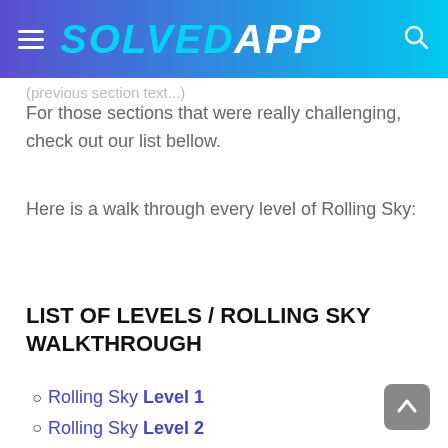SOLVEDAPP
For those sections that were really challenging, check out our list bellow.
Here is a walk through every level of Rolling Sky:
LIST OF LEVELS / ROLLING SKY WALKTHROUGH
Rolling Sky Level 1
Rolling Sky Level 2
Rolling Sky Level 3
Rolling Sky Level 4